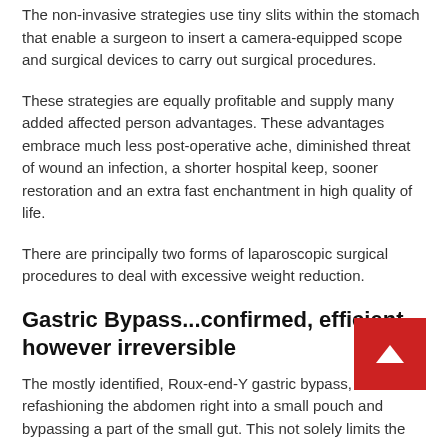The non-invasive strategies use tiny slits within the stomach that enable a surgeon to insert a camera-equipped scope and surgical devices to carry out surgical procedures.
These strategies are equally profitable and supply many added affected person advantages. These advantages embrace much less post-operative ache, diminished threat of wound an infection, a shorter hospital keep, sooner restoration and an extra fast enchantment in high quality of life.
There are principally two forms of laparoscopic surgical procedures to deal with excessive weight reduction.
Gastric Bypass...confirmed, efficient, however irreversible
The mostly identified, Roux-end-Y gastric bypass, includes refashioning the abdomen right into a small pouch and bypassing a part of the small gut. This not solely limits the